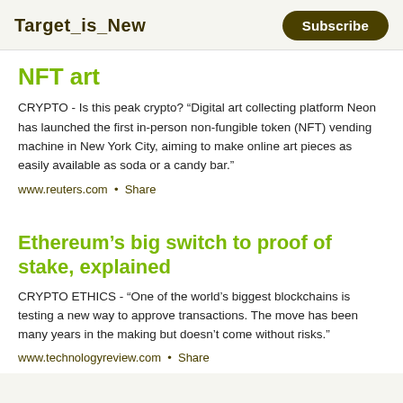Target_is_New  Subscribe
NFT art
CRYPTO - Is this peak crypto? “Digital art collecting platform Neon has launched the first in-person non-fungible token (NFT) vending machine in New York City, aiming to make online art pieces as easily available as soda or a candy bar.”
www.reuters.com • Share
Ethereum’s big switch to proof of stake, explained
CRYPTO ETHICS - “One of the world’s biggest blockchains is testing a new way to approve transactions. The move has been many years in the making but doesn’t come without risks.”
www.technologyreview.com • Share